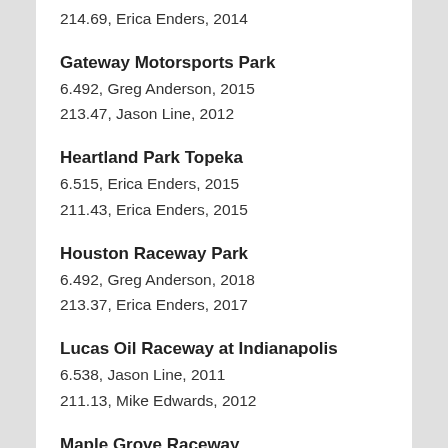214.69, Erica Enders, 2014
Gateway Motorsports Park
6.492, Greg Anderson, 2015
213.47, Jason Line, 2012
Heartland Park Topeka
6.515, Erica Enders, 2015
211.43, Erica Enders, 2015
Houston Raceway Park
6.492, Greg Anderson, 2018
213.37, Erica Enders, 2017
Lucas Oil Raceway at Indianapolis
6.538, Jason Line, 2011
211.13, Mike Edwards, 2012
Maple Grove Raceway
6.465, Erica Enders, 2014